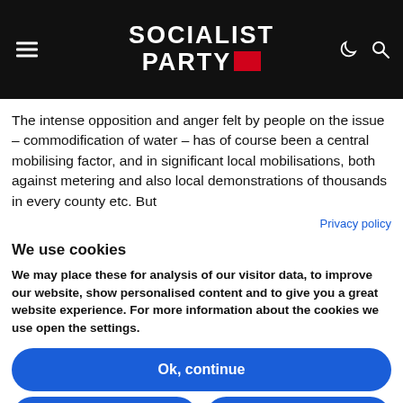Socialist Party
The intense opposition and anger felt by people on the issue – commodification of water – has of course been a central mobilising factor, and in significant local mobilisations, both against metering and also local demonstrations of thousands in every county etc. But
Privacy policy
We use cookies
We may place these for analysis of our visitor data, to improve our website, show personalised content and to give you a great website experience. For more information about the cookies we use open the settings.
Ok, continue
Deny
No, adjust